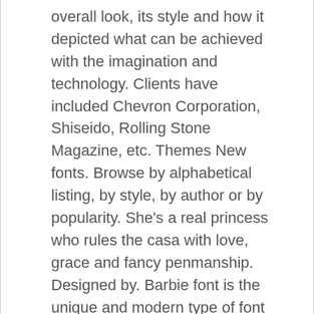overall look, its style and how it depicted what can be achieved with the imagination and technology. Clients have included Chevron Corporation, Shiseido, Rolling Stone Magazine, etc. Themes New fonts. Browse by alphabetical listing, by style, by author or by popularity. She's a real princess who rules the casa with love, grace and fancy penmanship. Designed by. Barbie font is the unique and modern type of font and its style is so natural. Download Maitana. Font Princess Sofia release note updateing.. With a playful country style that comes in two versions (Extralight and Light) as well as bonus doodles, it's a great addition to any project that needs a bold, Scandinavian vibe to it. Typo birthday invite template with crown. Princess Sofia font is licensed under the, She's a real princess who rules the casa with love, grace and fancy penmanship.